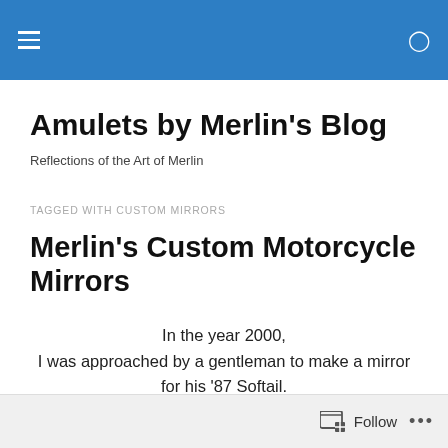Amulets by Merlin's Blog — navigation bar
Amulets by Merlin's Blog
Reflections of the Art of Merlin
TAGGED WITH CUSTOM MIRRORS
Merlin's Custom Motorcycle Mirrors
In the year 2000,
I was approached by a gentleman to make a mirror for his '87 Softail.
Follow